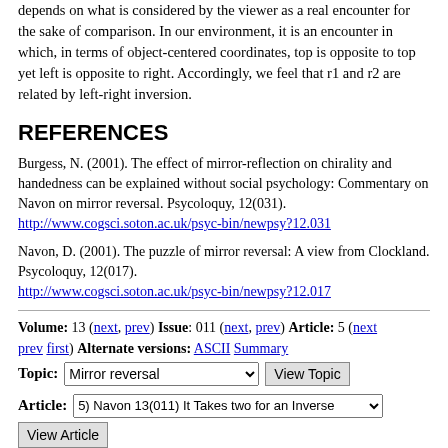depends on what is considered by the viewer as a real encounter for the sake of comparison. In our environment, it is an encounter in which, in terms of object-centered coordinates, top is opposite to top yet left is opposite to right. Accordingly, we feel that r1 and r2 are related by left-right inversion.
REFERENCES
Burgess, N. (2001). The effect of mirror-reflection on chirality and handedness can be explained without social psychology: Commentary on Navon on mirror reversal. Psycoloquy, 12(031). http://www.cogsci.soton.ac.uk/psyc-bin/newpsy?12.031
Navon, D. (2001). The puzzle of mirror reversal: A view from Clockland. Psycoloquy, 12(017). http://www.cogsci.soton.ac.uk/psyc-bin/newpsy?12.017
Volume: 13 (next, prev) Issue: 011 (next, prev) Article: 5 (next prev first) Alternate versions: ASCII Summary Topic: Mirror reversal [View Topic] Article: 5) Navon 13(011) It Takes two for an Inverse [View Article]